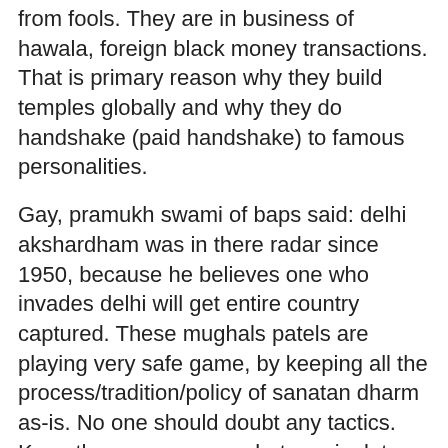from fools. They are in business of hawala, foreign black money transactions. That is primary reason why they build temples globally and why they do handshake (paid handshake) to famous personalities.
Gay, pramukh swami of baps said: delhi akshardham was in there radar since 1950, because he believes one who invades delhi will get entire country captured. These mughals patels are playing very safe game, by keeping all the process/tradition/policy of sanatan dharm as-is. No one should doubt any tactics. Keep the process same but manipulate the entire product.
Modern Terrorism : THROUGH OUT THE WAR GAME, Keep insulting sanatan dharm supreme god, and teach reverse that ANY ORDINARY ghantal Guru ghanshyam is supreme. Keep making money and keep doing hawala transactions globally.
Shikshapatri verse 1: I, Sahajananda Swami, within